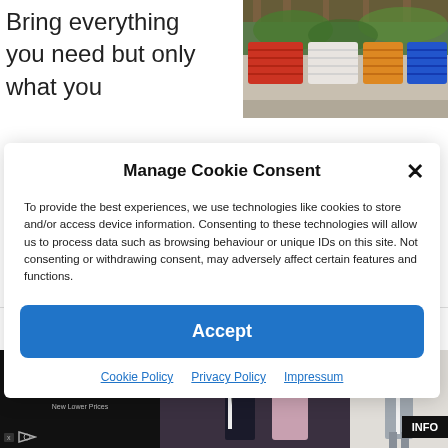Bring everything you need but only what you
[Figure (photo): Photo of laundry baskets (red, white, blue) on shelves under a wooden pergola]
Manage Cookie Consent
To provide the best experiences, we use technologies like cookies to store and/or access device information. Consenting to these technologies will allow us to process data such as browsing behaviour or unique IDs on this site. Not consenting or withdrawing consent, may adversely affect certain features and functions.
Accept
Cookie Policy   Privacy Policy   Impressum
damp towel around you.
[Figure (photo): Advertisement for Men's Wearhouse featuring a couple in formal wear and a man in a grey suit with INFO button]